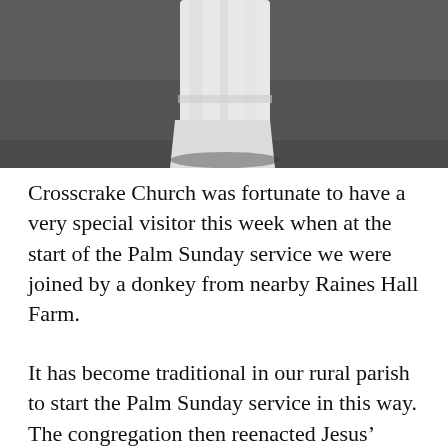[Figure (photo): Partial photograph of a person in white robes, likely a priest or minister, from the waist down, standing on a dark paved surface.]
Crosscrake Church was fortunate to have a very special visitor this week when at the start of the Palm Sunday service we were joined by a donkey from nearby Raines Hall Farm.
It has become traditional in our rural parish to start the Palm Sunday service in this way. The congregation then reenacted Jesus’ entry into Jerusalem by processing into church singing the hymn ‘All Glory Laud and Honour’.
Terry led a lively service involving participation from the